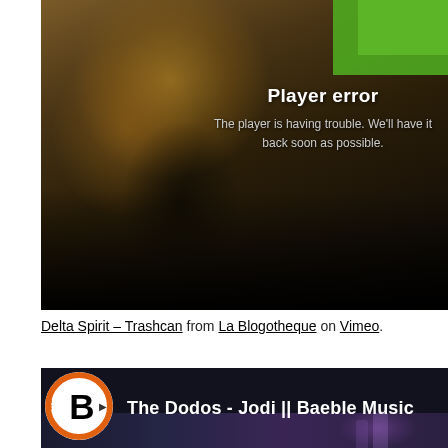[Figure (screenshot): Video player showing error state. Dark brownish background with people in background, green screen top-right corner. Error message reads: 'Player error' and 'The player is having trouble. We'll have it back soon as possible.']
Delta Spirit – Trashcan from La Blogotheque on Vimeo.
[Figure (screenshot): Baeble Music video player thumbnail showing 'The Dodos - Jodi || Baeble Music' with Baeble logo (black B on white circle with orange ring and MUSIC text) and dark blue/purple background.]